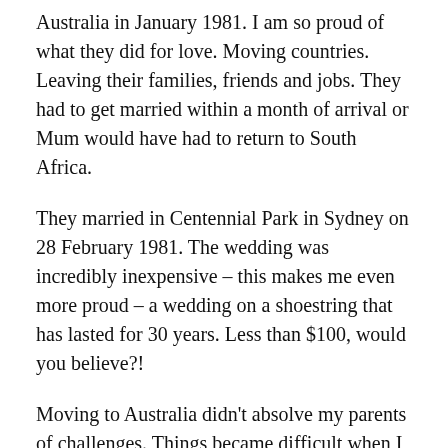Australia in January 1981. I am so proud of what they did for love. Moving countries. Leaving their families, friends and jobs. They had to get married within a month of arrival or Mum would have had to return to South Africa.
They married in Centennial Park in Sydney on 28 February 1981. The wedding was incredibly inexpensive – this makes me even more proud – a wedding on a shoestring that has lasted for 30 years. Less than $100, would you believe?!
Moving to Australia didn't absolve my parents of challenges. Things became difficult when I was born. They had me, a severely unwell baby, with no family